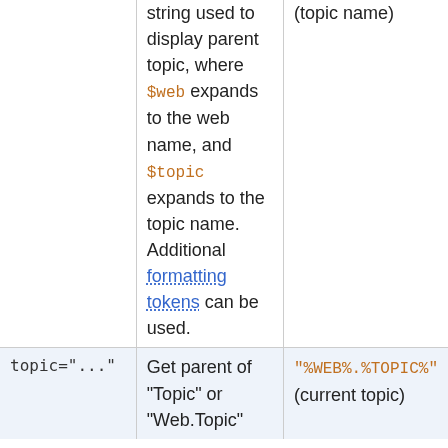|  | string used to display parent topic, where $web expands to the web name, and $topic expands to the topic name. Additional formatting tokens can be used. | (topic name) |
| topic="..." | Get parent of "Topic" or "Web.Topic" | "%WEB%.%TOPIC%" (current topic) |